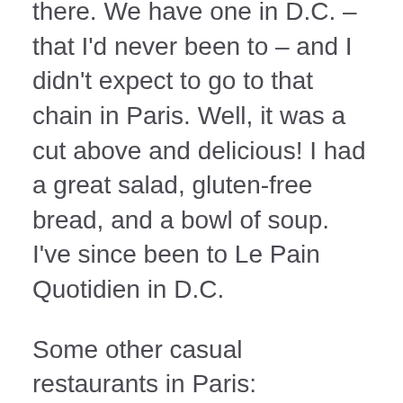there. We have one in D.C. – that I'd never been to – and I didn't expect to go to that chain in Paris. Well, it was a cut above and delicious! I had a great salad, gluten-free bread, and a bowl of soup. I've since been to Le Pain Quotidien in D.C.
Some other casual restaurants in Paris:
Divin' Art, near Arts et Metiers Metro, is a gluten-free crêperie in walking distance of my Airbnb. I